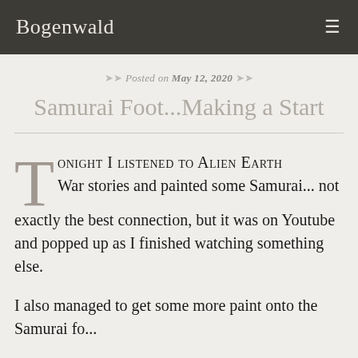Bogenwald
Posted on May 12, 2020
Samurai Foot...Making a Start
Tonight I listened to Alien Earth War stories and painted some Samurai... not exactly the best connection, but it was on Youtube and popped up as I finished watching something else.
I also managed to get some more paint onto the Samurai fo...